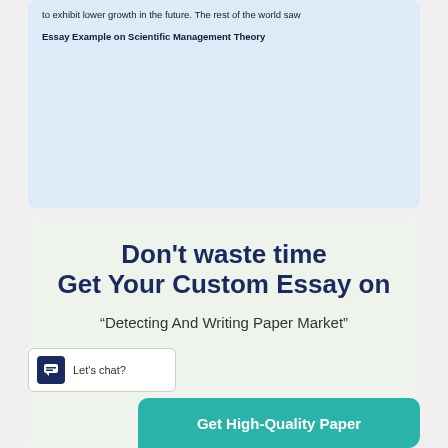to exhibit lower growth in the future. The rest of the world saw
Essay Example on Scientific Management Theory
Don't waste time Get Your Custom Essay on
"Detecting And Writing Paper Market"
Let's chat?
Get High-Quality Paper